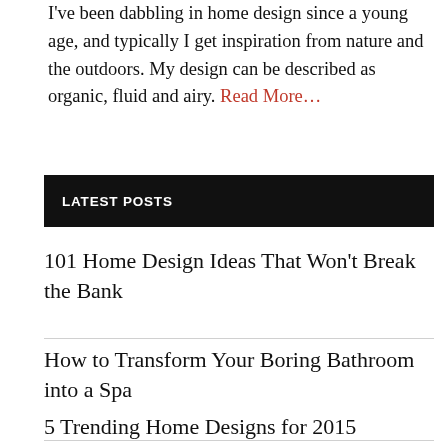I've been dabbling in home design since a young age, and typically I get inspiration from nature and the outdoors. My design can be described as organic, fluid and airy. Read More...
LATEST POSTS
101 Home Design Ideas That Won't Break the Bank
How to Transform Your Boring Bathroom into a Spa
5 Trending Home Designs for 2015